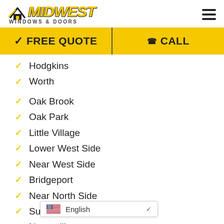[Figure (logo): Midwest Windows & Doors logo with house/roof icon and yellow bold text]
FREE QUOTE | CALL
Hodgkins
Worth
Oak Brook
Oak Park
Little Village
Lower West Side
Near West Side
Bridgeport
Near North Side
Summit
Naperville
English (language switcher)